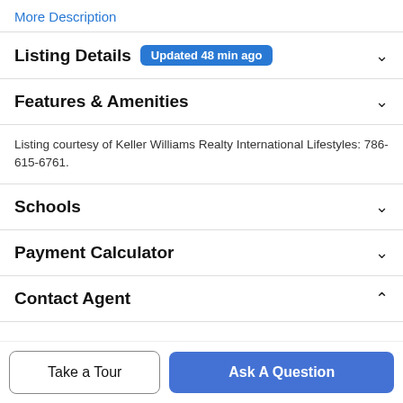More Description
Listing Details  Updated 48 min ago
Features & Amenities
Listing courtesy of Keller Williams Realty International Lifestyles: 786-615-6761.
Schools
Payment Calculator
Contact Agent
Take a Tour
Ask A Question